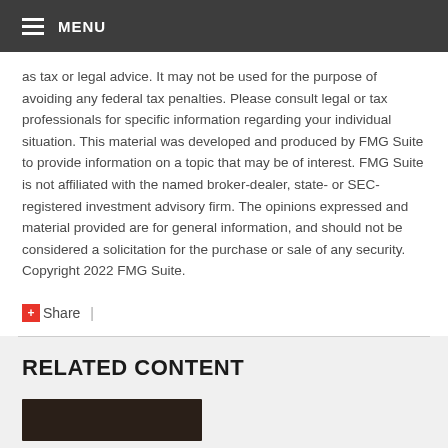MENU
as tax or legal advice. It may not be used for the purpose of avoiding any federal tax penalties. Please consult legal or tax professionals for specific information regarding your individual situation. This material was developed and produced by FMG Suite to provide information on a topic that may be of interest. FMG Suite is not affiliated with the named broker-dealer, state- or SEC-registered investment advisory firm. The opinions expressed and material provided are for general information, and should not be considered a solicitation for the purchase or sale of any security. Copyright 2022 FMG Suite.
Share |
RELATED CONTENT
[Figure (photo): Thumbnail image for related content section]